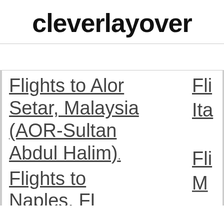cleverlayover
Flights to Alor Setar, Malaysia (AOR-Sultan Abdul Halim)
Fli Ita
Flights to Naples, FL
Fli M